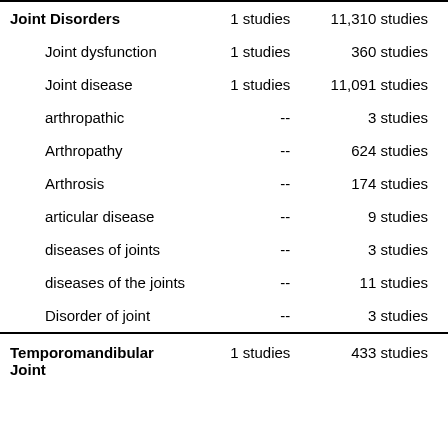| Condition | Col1 | Col2 |
| --- | --- | --- |
| Joint Disorders | 1 studies | 11,310 studies |
| Joint dysfunction | 1 studies | 360 studies |
| Joint disease | 1 studies | 11,091 studies |
| arthropathic | -- | 3 studies |
| Arthropathy | -- | 624 studies |
| Arthrosis | -- | 174 studies |
| articular disease | -- | 9 studies |
| diseases of joints | -- | 3 studies |
| diseases of the joints | -- | 11 studies |
| Disorder of joint | -- | 3 studies |
| Temporomandibular Joint | 1 studies | 433 studies |